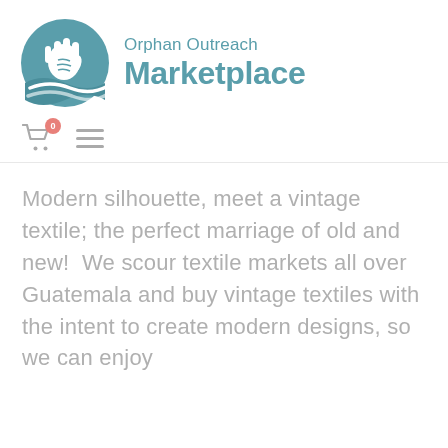[Figure (logo): Orphan Outreach Marketplace logo: a teal circular icon with a hand and wave design, next to the text 'Orphan Outreach Marketplace' in teal]
[Figure (other): Navigation bar with a shopping cart icon with a badge showing '0' and a hamburger menu icon]
Modern silhouette, meet a vintage textile; the perfect marriage of old and new!  We scour textile markets all over Guatemala and buy vintage textiles with the intent to create modern designs, so we can enjoy